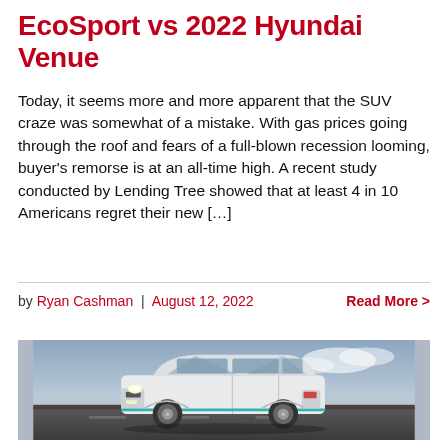EcoSport vs 2022 Hyundai Venue
Today, it seems more and more apparent that the SUV craze was somewhat of a mistake. With gas prices going through the roof and fears of a full-blown recession looming, buyer’s remorse is at an all-time high. A recent study conducted by Lending Tree showed that at least 4 in 10 Americans regret their new […]
by Ryan Cashman | August 12, 2022    Read More >
[Figure (photo): White electric SUV (Kia Niro EV) on a road with a dusk sky background]